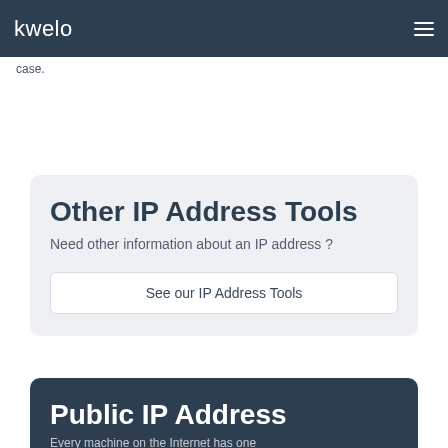kwelo
case.
Other IP Address Tools
Need other information about an IP address ?
See our IP Address Tools
Public IP Address
Every machine on the Internet has one